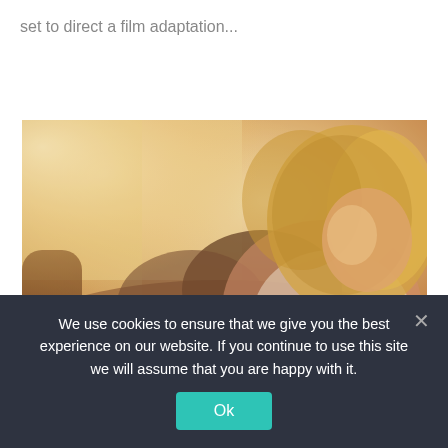set to direct a film adaptation...
[Figure (photo): A blonde woman in a white lace top sitting on a brown leather couch/sofa with dark pillows, legs crossed, looking to the side. Warm golden-toned editorial photograph.]
We use cookies to ensure that we give you the best experience on our website. If you continue to use this site we will assume that you are happy with it.
Ok